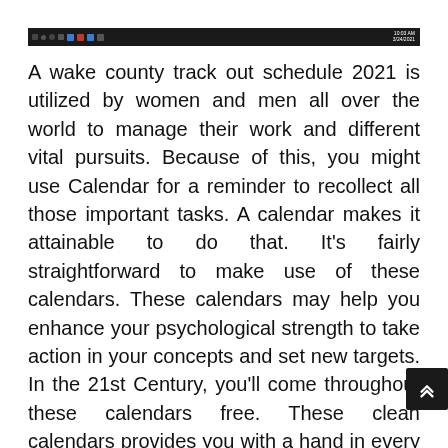[Figure (screenshot): Windows taskbar at the top of a browser/desktop screenshot showing dark taskbar with icons and time display]
A wake county track out schedule 2021 is utilized by women and men all over the world to manage their work and different vital pursuits. Because of this, you might use Calendar for a reminder to recollect all those important tasks. A calendar makes it attainable to do that. It's fairly straightforward to make use of these calendars. These calendars may help you enhance your psychological strength to take action in your concepts and set new targets. In the 21st Century, you'll come throughout these calendars free. These clean calendars provides you with a hand in every method you want. Calendars are a critical portion of the on a regular basis routines. Thus, the calendar is getting a particularly worthwhile portion of our lives. Printabl...